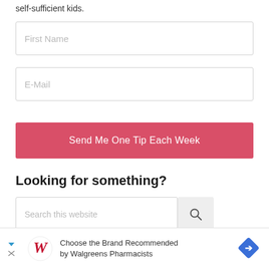self-sufficient kids.
First Name
E-Mail
Send Me One Tip Each Week
Looking for something?
Search this website
See my Disclosure Policy
Choose the Brand Recommended by Walgreens Pharmacists